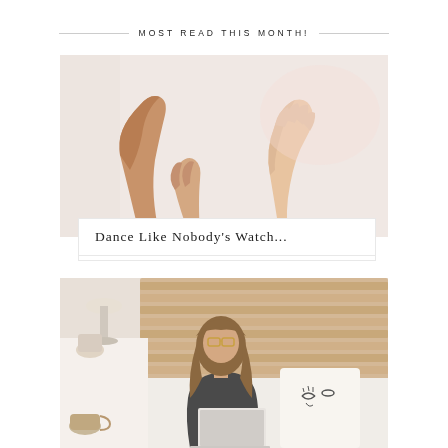MOST READ THIS MONTH!
[Figure (photo): Three arms/hands raised and gesturing against a soft pink/white background — a dance or movement photo. Overlaid white box with title text 'Dance Like Nobody's Watch...']
Dance Like Nobody's Watch...
[Figure (photo): A young woman with straight brown hair sitting in bed against a wooden slatted headboard, working on a laptop. Beside her is a nightstand with a lamp, ceramics, and a decorative face pillow on the bed.]